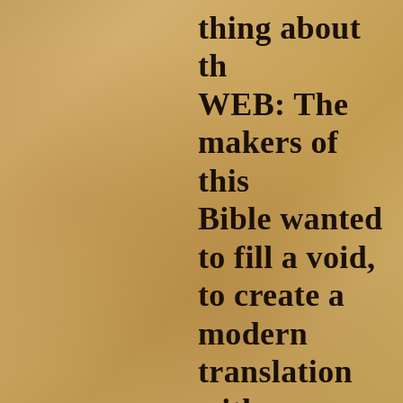thing about th WEB: The makers of this Bible wanted to fill a void, to create a modern translation with no